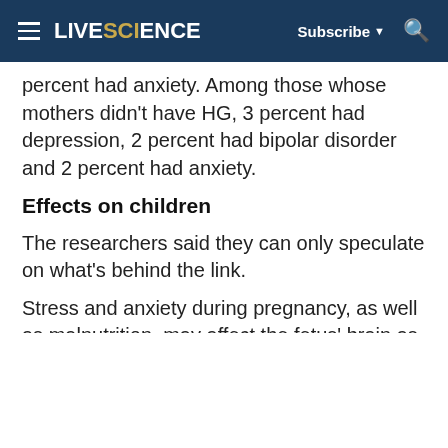LIVESCIENCE  Subscribe  [search]
percent had anxiety. Among those whose mothers didn't have HG, 3 percent had depression, 2 percent had bipolar disorder and 2 percent had anxiety.
Effects on children
The researchers said they can only speculate on what's behind the link.
Stress and anxiety during pregnancy, as well as malnutrition, may affect the fetus' brain as it develops, they said. In addition, women with HG may experience post-traumatic stress disorder (PTSD) or physical problems following their pregnancy that hinders their ability to bond with their child, paving the way for later behavioral disorders.